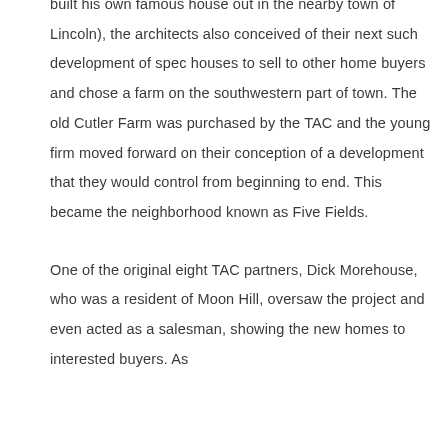built his own famous house out in the nearby town of Lincoln), the architects also conceived of their next such development of spec houses to sell to other home buyers and chose a farm on the southwestern part of town. The old Cutler Farm was purchased by the TAC and the young firm moved forward on their conception of a development that they would control from beginning to end. This became the neighborhood known as Five Fields.
One of the original eight TAC partners, Dick Morehouse, who was a resident of Moon Hill, oversaw the project and even acted as a salesman, showing the new homes to interested buyers. As